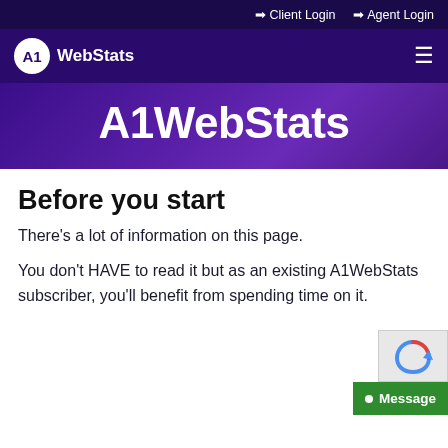➡ Client Login ➡ Agent Login
[Figure (logo): A1WebStats logo with white circle containing A1 text and 'WebStats' text beside it, on dark purple background with hamburger menu icon]
A1WebStats
Before you start
There's a lot of information on this page.
You don't HAVE to read it but as an existing A1WebStats subscriber, you'll benefit from spending time on it.